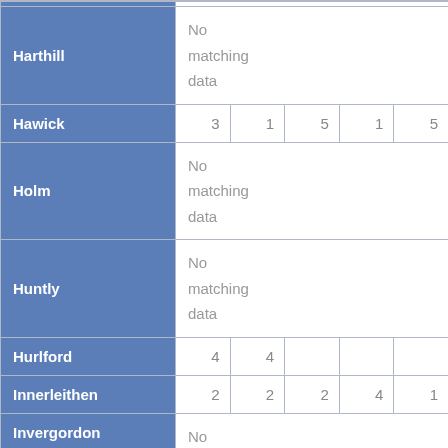| Harthill | No matching data |  |  |  |  |
| Hawick | 3 | 1 | 5 | 1 | 5 |
| Holm | No matching data |  |  |  |  |
| Huntly | No matching data |  |  |  |  |
| Hurlford | 4 | 4 |  |  |  |
| Innerleithen | 2 | 2 | 2 | 4 | 1 |
| Invergordon | No matching... |  |  |  |  |